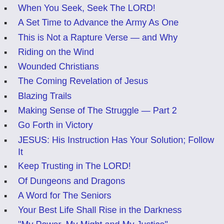When You Seek, Seek The LORD!
A Set Time to Advance the Army As One
This is Not a Rapture Verse — and Why
Riding on the Wind
Wounded Christians
The Coming Revelation of Jesus
Blazing Trails
Making Sense of The Struggle — Part 2
Go Forth in Victory
JESUS: His Instruction Has Your Solution; Follow It
Keep Trusting in The LORD!
Of Dungeons and Dragons
A Word for The Seniors
Your Best Life Shall Rise in the Darkness
“My Power, My Might and My Justice”
Christian Living Posts:
My Testimony
Updated: Keep Throwing out Handfuls of Purpose
Stop Looking for Life to Be Comfortable
Keep Your Boat Anchored